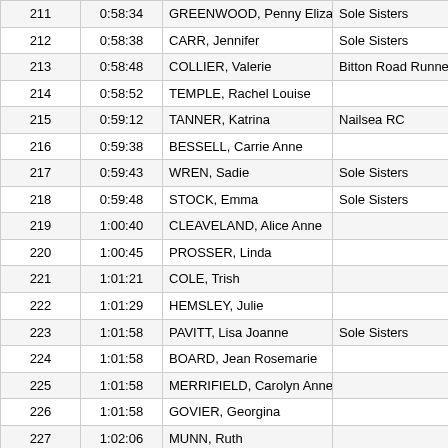| # | Time | Name | Club | Category |
| --- | --- | --- | --- | --- |
| 211 | 0:58:34 | GREENWOOD, Penny Elizabeth | Sole Sisters | Female Vet |
| 212 | 0:58:38 | CARR, Jennifer | Sole Sisters | Female Vet |
| 213 | 0:58:48 | COLLIER, Valerie | Bitton Road Runners | Female Vet |
| 214 | 0:58:52 | TEMPLE, Rachel Louise |  | Senior Fem |
| 215 | 0:59:12 | TANNER, Katrina | Nailsea RC | Female Vet |
| 216 | 0:59:38 | BESSELL, Carrie Anne |  | Senior Fem |
| 217 | 0:59:43 | WREN, Sadie | Sole Sisters | Senior Fem |
| 218 | 0:59:48 | STOCK, Emma | Sole Sisters | Female Vet |
| 219 | 1:00:40 | CLEAVELAND, Alice Anne |  | Female Vet |
| 220 | 1:00:45 | PROSSER, Linda |  | Female Vet |
| 221 | 1:01:21 | COLE, Trish |  | Female Vet |
| 222 | 1:01:29 | HEMSLEY, Julie |  | Female Vet |
| 223 | 1:01:58 | PAVITT, Lisa Joanne | Sole Sisters | Female Vet |
| 224 | 1:01:58 | BOARD, Jean Rosemarie |  | Female Vet |
| 225 | 1:01:58 | MERRIFIELD, Carolyn Anne |  | Female Vet |
| 226 | 1:01:58 | GOVIER, Georgina |  | Female Vet |
| 227 | 1:02:06 | MUNN, Ruth |  | Female Vet |
| 228 | 1:02:06 | SHEPPARD, Shabu Elizabeth | Sole Sisters | Female Vet |
| 229 | 1:02:06 | BAKER, Mark | Bitton Road Runners | Senior Mal |
| 230 | 1:02:21 | PRICE, Rachel |  | Senior Fem |
| 231 | 1:02:21 | THORNTON, Joanne |  | Female Vet |
| 232 | 1:02:32 | WILSON, Faye |  | Senior Fem |
| 233 | 1:03:53 | HAWKINS, Ann K |  | Female Vet |